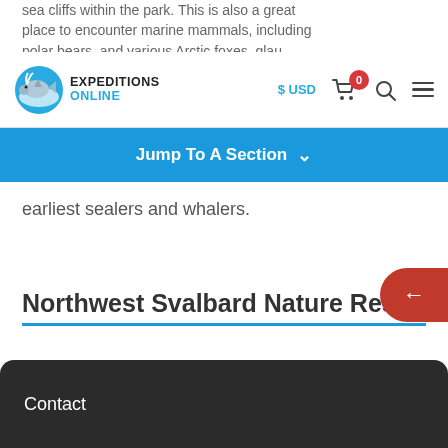sea cliffs within the park. This is also a great place to encounter marine mammals, including polar bears, and various Arctic foxes, glau
[Figure (logo): Expeditions Online logo with a whale/dolphin cartoon and blue wave]
$ USD
0
Jump To A Section
earliest sealers and whalers.
Northwest Svalbard Nature Reserve
During this voyage, we expect to encounter significant sea ice concentrations in the enormous Northwest Svalbard Nature Reserve. In this remote and isolated region, ice can
Contact